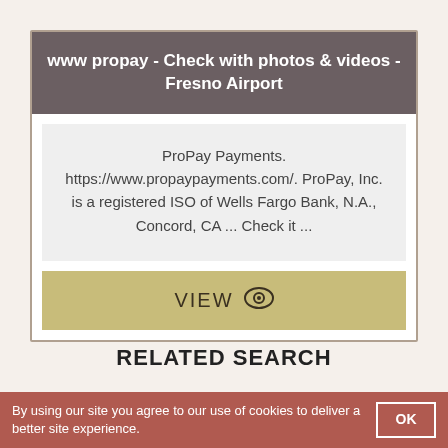www propay - Check with photos & videos - Fresno Airport
ProPay Payments. https://www.propaypayments.com/. ProPay, Inc. is a registered ISO of Wells Fargo Bank, N.A., Concord, CA ... Check it ...
VIEW
RELATED SEARCH
By using our site you agree to our use of cookies to deliver a better site experience.